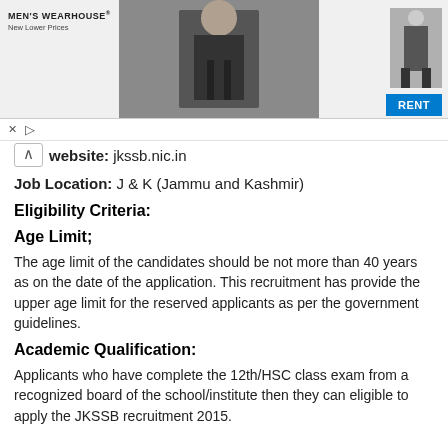[Figure (screenshot): Men's Wearhouse advertisement banner with couple in formal wear, mannequin, and blue RENT button]
website: jkssb.nic.in
Job Location: J & K (Jammu and Kashmir)
Eligibility Criteria:
Age Limit;
The age limit of the candidates should be not more than 40 years as on the date of the application. This recruitment has provide the upper age limit for the reserved applicants as per the government guidelines.
Academic Qualification:
Applicants who have complete the 12th/HSC class exam from a recognized board of the school/institute then they can eligible to apply the JKSSB recruitment 2015.